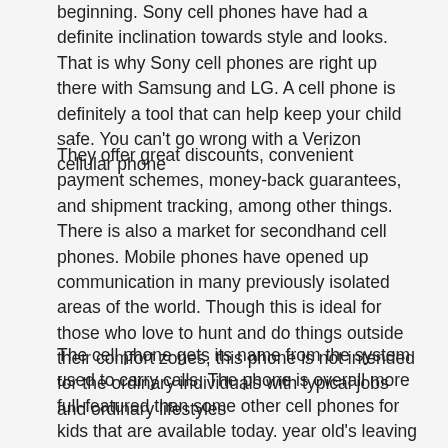beginning. Sony cell phones have had a definite inclination towards style and looks. That is why Sony cell phones are right up there with Samsung and LG. A cell phone is definitely a tool that can help keep your child safe. You can't go wrong with a Verizon cellular phone
They offer great discounts, convenient payment schemes, money-back guarantees, and shipment tracking, among other things. There is also a market for secondhand cell phones. Mobile phones have opened up communication in many previously isolated areas of the world. Though this is ideal for those who love to hunt and do things outside their comfort zones, this phone is not intended for the ordinary individuals with typical jobs and ordinary lifestyles
The cell phone gets its name from the system used to carry calls. The phone is overall more full-featured than some other cell phones for kids that are available today. year old's leaving home to meet complete strangers, 14 year old's